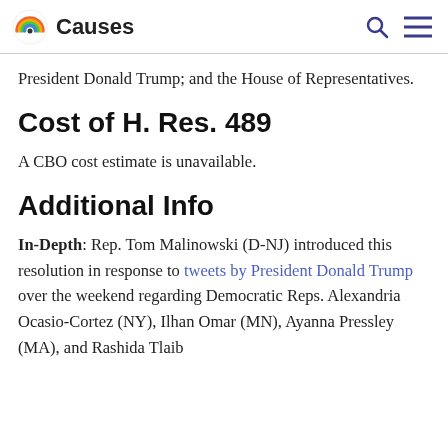Causes
President Donald Trump; and the House of Representatives.
Cost of H. Res. 489
A CBO cost estimate is unavailable.
Additional Info
In-Depth: Rep. Tom Malinowski (D-NJ) introduced this resolution in response to tweets by President Donald Trump over the weekend regarding Democratic Reps. Alexandria Ocasio-Cortez (NY), Ilhan Omar (MN), Ayanna Pressley (MA), and Rashida Tlaib